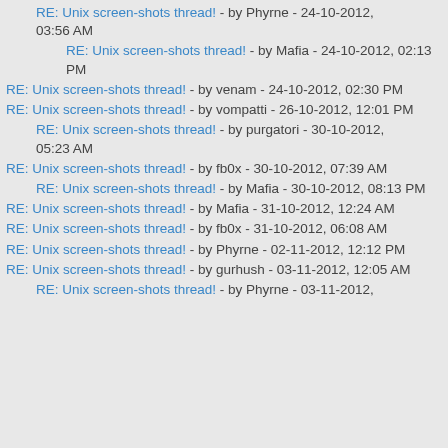RE: Unix screen-shots thread! - by Phyrne - 24-10-2012, 03:56 AM
RE: Unix screen-shots thread! - by Mafia - 24-10-2012, 02:13 PM
RE: Unix screen-shots thread! - by venam - 24-10-2012, 02:30 PM
RE: Unix screen-shots thread! - by vompatti - 26-10-2012, 12:01 PM
RE: Unix screen-shots thread! - by purgatori - 30-10-2012, 05:23 AM
RE: Unix screen-shots thread! - by fb0x - 30-10-2012, 07:39 AM
RE: Unix screen-shots thread! - by Mafia - 30-10-2012, 08:13 PM
RE: Unix screen-shots thread! - by Mafia - 31-10-2012, 12:24 AM
RE: Unix screen-shots thread! - by fb0x - 31-10-2012, 06:08 AM
RE: Unix screen-shots thread! - by Phyrne - 02-11-2012, 12:12 PM
RE: Unix screen-shots thread! - by gurhush - 03-11-2012, 12:05 AM
RE: Unix screen-shots thread! - by Phyrne - 03-11-2012,